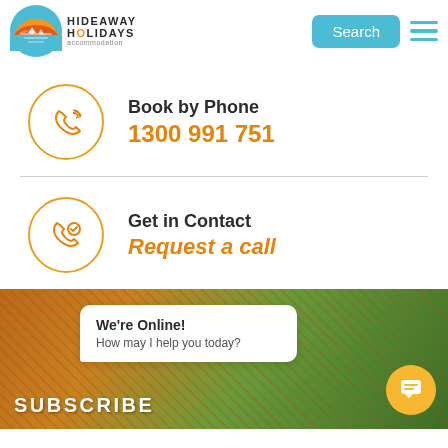Hideaway Holidays — Search button and hamburger menu
Book by Phone
1300 991 751
Get in Contact
Request a call
[Figure (screenshot): Bottom section with orange/green holiday background, SUBSCRIBE text, live chat bubble saying 'We're Online! How may I help you today?' and yellow chat icon]
We're Online! How may I help you today?
SUBSCRIBE